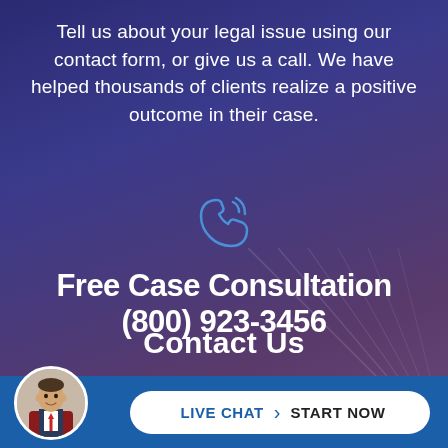Tell us about your legal issue using our contact form, or give us a call. We have helped thousands of clients realize a positive outcome in their case.
[Figure (illustration): Blue outlined phone handset with signal/wifi waves icon]
Free Case Consultation
(800) 923-3456
Contact Us
LIVE CHAT  |  START NOW